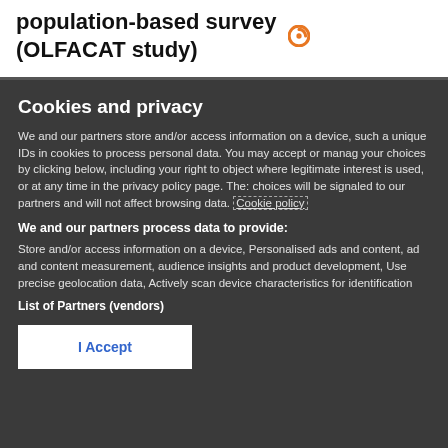population-based survey (OLFACAT study)
Cookies and privacy
We and our partners store and/or access information on a device, such as unique IDs in cookies to process personal data. You may accept or manage your choices by clicking below, including your right to object where legitimate interest is used, or at any time in the privacy policy page. These choices will be signaled to our partners and will not affect browsing data. Cookie policy
We and our partners process data to provide:
Store and/or access information on a device, Personalised ads and content, ad and content measurement, audience insights and product development, Use precise geolocation data, Actively scan device characteristics for identification
List of Partners (vendors)
I Accept